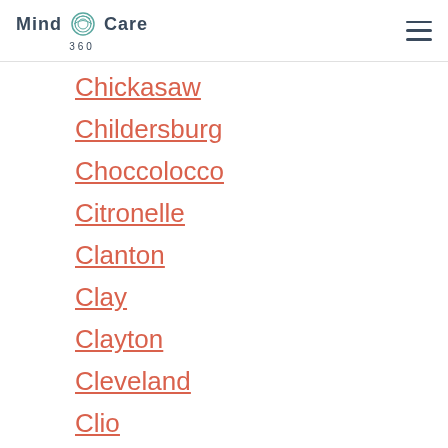Mind Care 360
Chickasaw
Childersburg
Choccolocco
Citronelle
Clanton
Clay
Clayton
Cleveland
Clio
Coaling
Collinsville